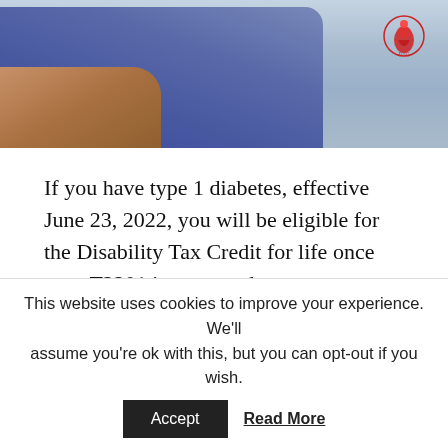[Figure (photo): Photo of a person in blue jeans sitting, partial view showing legs and torso, with a logo badge overlay in the top right corner]
If you have type 1 diabetes, effective June 23, 2022, you will be eligible for the Disability Tax Credit for life once your T2201 is approved.
For those with other types of insulin dependent diabetes, the length of time you qualify for the DTC is subject to CRA's internal policies.  They can grant the credit for one-year time frames, and you will
This website uses cookies to improve your experience. We'll assume you're ok with this, but you can opt-out if you wish.
Accept   Read More